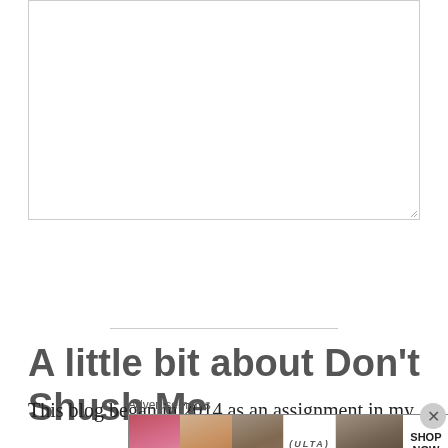[Figure (screenshot): Text input area / textarea box with resize handle at bottom right]
[Figure (screenshot): Blue rounded 'Contact Us' button]
A little bit about Don’t Shush Me...
This blog began in 2014 as an assignment in my
[Figure (infographic): Advertisements banner with Ulta beauty ad showing lips, brush, eye, Ulta logo, brows, and SHOP NOW text]